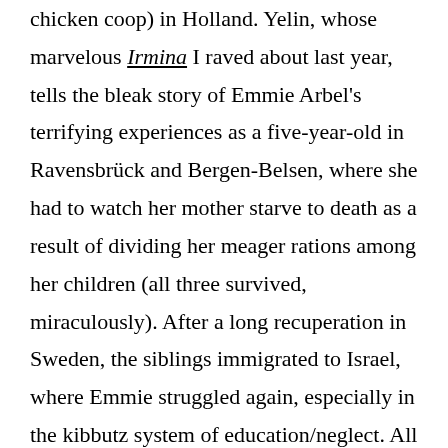chicken coop) in Holland. Yelin, whose marvelous Irmina I raved about last year, tells the bleak story of Emmie Arbel's terrifying experiences as a five-year-old in Ravensbrück and Bergen-Belsen, where she had to watch her mother starve to death as a result of dividing her meager rations among her children (all three survived, miraculously). After a long recuperation in Sweden, the siblings immigrated to Israel, where Emmie struggled again, especially in the kibbutz system of education/neglect. All three artists include their exchanges with their subjects in their comics, but Yelin's self-reflection is the most extensive. In the process she shows how thoroughly Arbel was damaged by her experiences, to the point